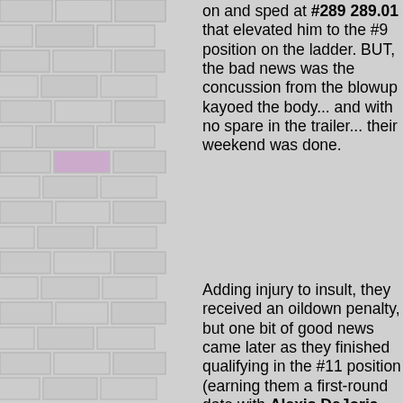on and sped at #289 289.01 that elevated him to the #9 position on the ladder. BUT, the bad news was the concussion from the blowup kayoed the body... and with no spare in the trailer... their weekend was done.
Adding injury to insult, they received an oildown penalty, but one bit of good news came later as they finished qualifying in the #11 position (earning them a first-round date with Alexis DeJoria. EPILOGUE: They weren't able to show for eliminations, but still took home first-round "runnerup" money, that would go some of the way towards a new body.
[Figure (photo): A blurred photo of a racing car, showing the front/side of a red and white dragster at speed, partially cut off at the bottom of the page.]